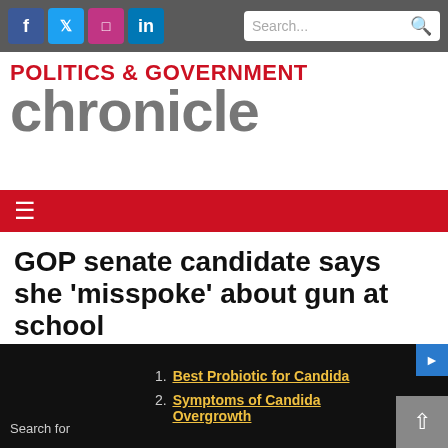POLITICS & GOVERNMENT chronicle
GOP senate candidate says she 'misspoke' about gun at school
By Holly Eitenmiller For Chronicle Media, March 1, 2020
1. Best Probiotic for Candida
2. Symptoms of Candida Overgrowth
Search for